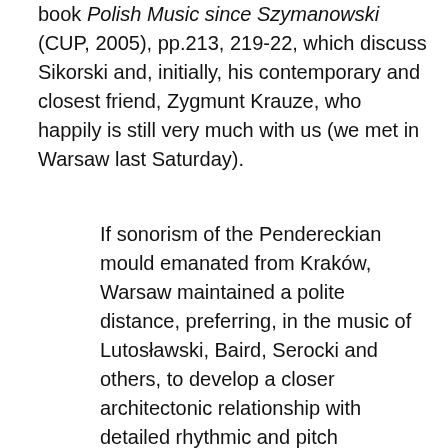book Polish Music since Szymanowski (CUP, 2005), pp.213, 219-22, which discuss Sikorski and, initially, his contemporary and closest friend, Zygmunt Krauze, who happily is still very much with us (we met in Warsaw last Saturday).
If sonorism of the Pendereckian mould emanated from Kraków, Warsaw maintained a polite distance, preferring, in the music of Lutosławski, Baird, Serocki and others, to develop a closer architectonic relationship with detailed rhythmic and pitch organisation.  Of the younger Warsaw generation who graduated in the 1960s, two composers quickly became pre-eminent: Zygmunt Krauze and Tomasz Sikorski (1939-88), son of the composer Kazimierz Sikorski.  They were both his students, the latest in a line that already included Bacewicz, Baird